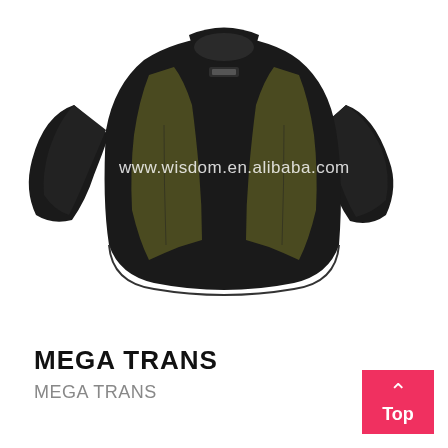[Figure (photo): A black long-sleeve compression shirt/wetsuit top with olive/dark yellow side panels and a small logo on the chest, displayed on a mannequin or model, on a white background. Watermark text reads 'www.wisdom.en.alibaba.com'.]
MEGA TRANS
MEGA TRANS